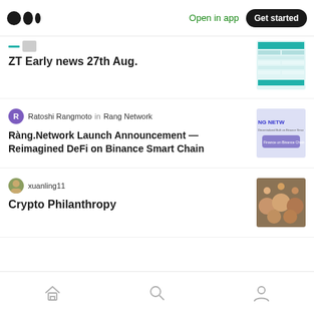Open in app | Get started
ZT Early news 27th Aug.
Ratoshi Rangmoto in Rang Network
Ràng.Network Launch Announcement — Reimagined DeFi on Binance Smart Chain
xuanling11
Crypto Philanthropy
Home | Search | Profile